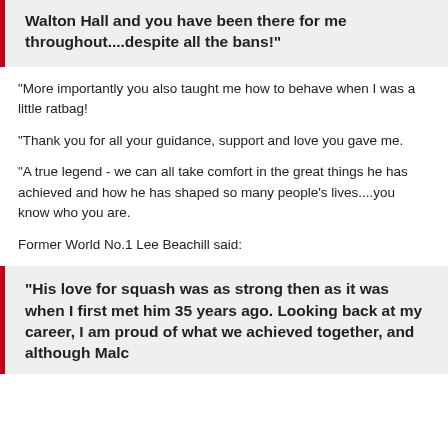Walton Hall and you have been there for me throughout....despite all the bans!"
“More importantly you also taught me how to behave when I was a little ratbag!
“Thank you for all your guidance, support and love you gave me.
“A true legend - we can all take comfort in the great things he has achieved and how he has shaped so many people’s lives....you know who you are.
Former World No.1 Lee Beachill said:
“His love for squash was as strong then as it was when I first met him 35 years ago. Looking back at my career, I am proud of what we achieved together, and although Malc